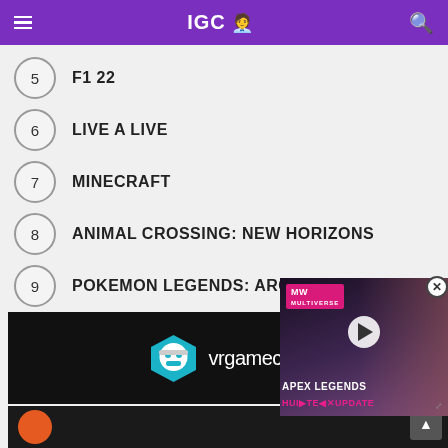IGC
5  F1 22
6  LIVE A LIVE
7  MINECRAFT
8  ANIMAL CROSSING: NEW HORIZONS
9  POKEMON LEGENDS: ARCEUS
10  GRAND THEFT AUTO V
[Figure (screenshot): Video overlay showing Apex Legends Hunter Update with MW badge, play button, and character portrait]
[Figure (logo): VR Game Critic logo banner — hexagon ninja logo with vrgamecritic text on dark background]